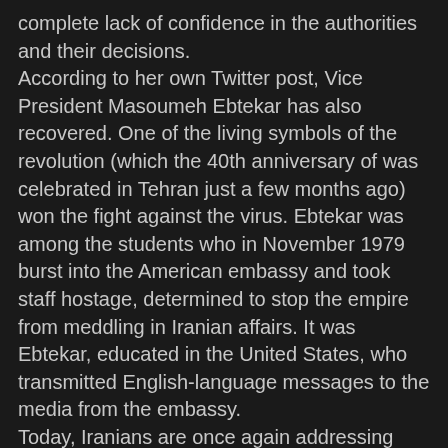complete lack of confidence in the authorities and their decisions. According to her own Twitter post, Vice President Masoumeh Ebtekar has also recovered. One of the living symbols of the revolution (which the 40th anniversary of was celebrated in Tehran just a few months ago) won the fight against the virus. Ebtekar was among the students who in November 1979 burst into the American embassy and took staff hostage, determined to stop the empire from meddling in Iranian affairs. It was Ebtekar, educated in the United States, who transmitted English-language messages to the media from the embassy. Today, Iranians are once again addressing Washington with appeals and accusations,